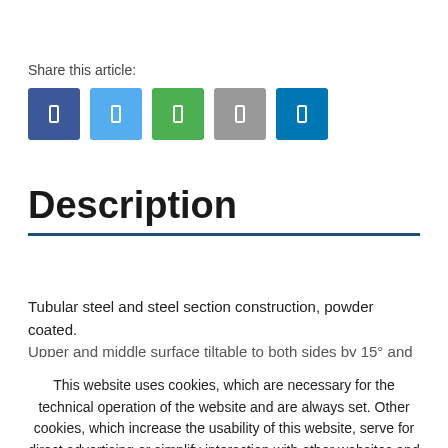Share this article:
[Figure (other): Five social media share buttons: Facebook (dark blue), Twitter (light blue), WhatsApp (green), a grey share button, and LinkedIn (blue)]
Description
Tubular steel and steel section construction, powder coated. Upper and middle surface tiltable to both sides by 15° and
This website uses cookies, which are necessary for the technical operation of the website and are always set. Other cookies, which increase the usability of this website, serve for direct advertising or simplify interaction with other websites and social networks, will only be used with your consent.
Decline | Accept all | Configure